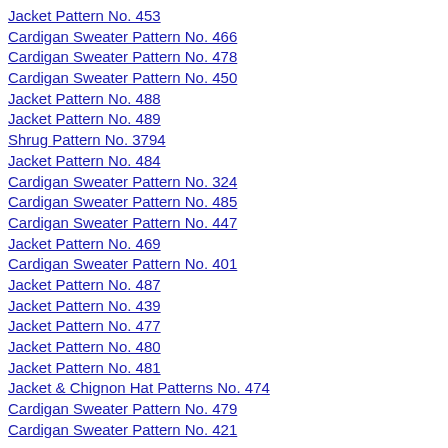Jacket Pattern No. 453
Cardigan Sweater Pattern No. 466
Cardigan Sweater Pattern No. 478
Cardigan Sweater Pattern No. 450
Jacket Pattern No. 488
Jacket Pattern No. 489
Shrug Pattern No. 3794
Jacket Pattern No. 484
Cardigan Sweater Pattern No. 324
Cardigan Sweater Pattern No. 485
Cardigan Sweater Pattern No. 447
Jacket Pattern No. 469
Cardigan Sweater Pattern No. 401
Jacket Pattern No. 487
Jacket Pattern No. 439
Jacket Pattern No. 477
Jacket Pattern No. 480
Jacket Pattern No. 481
Jacket & Chignon Hat Patterns No. 474
Cardigan Sweater Pattern No. 479
Cardigan Sweater Pattern No. 421
Jacket Patterns